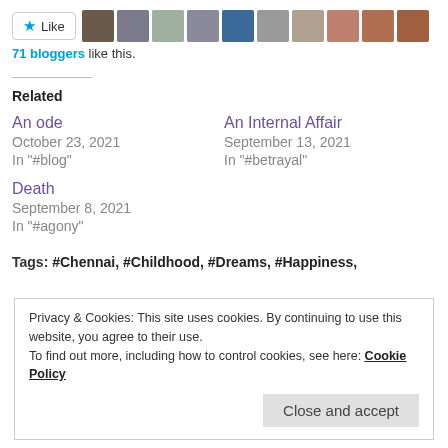[Figure (other): Like button and row of blogger avatar thumbnails]
71 bloggers like this.
Related
An ode
October 23, 2021
In "#blog"
An Internal Affair
September 13, 2021
In "#betrayal"
Death
September 8, 2021
In "#agony"
Tags: #Chennai, #Childhood, #Dreams, #Happiness,
Privacy & Cookies: This site uses cookies. By continuing to use this website, you agree to their use.
To find out more, including how to control cookies, see here: Cookie Policy
Close and accept